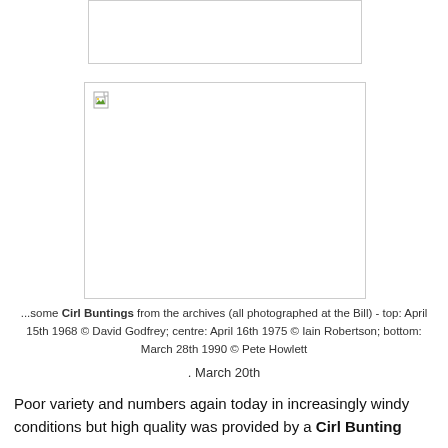[Figure (photo): Partial top image box - cropped photo placeholder with border]
[Figure (photo): Second image box with broken image icon - Cirl Bunting photo placeholder with border]
...some Cirl Buntings from the archives (all photographed at the Bill) - top: April 15th 1968 © David Godfrey; centre: April 16th 1975 © Iain Robertson; bottom: March 28th 1990 © Pete Howlett
. March 20th
Poor variety and numbers again today in increasingly windy conditions but high quality was provided by a Cirl Bunting